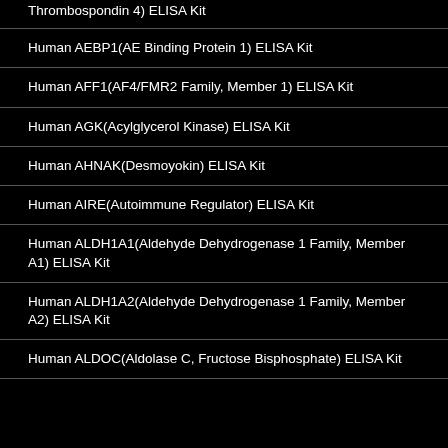Human AEBP1(AE Binding Protein 1) ELISA Kit
Human AFF1(AF4/FMR2 Family, Member 1) ELISA Kit
Human AGK(Acylglycerol Kinase) ELISA Kit
Human AHNAK(Desmoyokin) ELISA Kit
Human AIRE(Autoimmune Regulator) ELISA Kit
Human ALDH1A1(Aldehyde Dehydrogenase 1 Family, Member A1) ELISA Kit
Human ALDH1A2(Aldehyde Dehydrogenase 1 Family, Member A2) ELISA Kit
Human ALDOC(Aldolase C, Fructose Bisphosphate) ELISA Kit